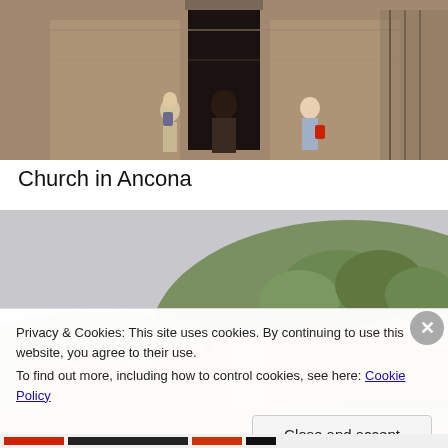[Figure (photo): Photo of a church entrance in Ancona, Italy. Three people visible walking toward large stone doors of a historic church facade.]
Church in Ancona
[Figure (photo): Panoramic photo of a hillside Italian town (Ancona area), showing terracotta-toned buildings stacked on a hill with green trees and a tower at the top.]
Privacy & Cookies: This site uses cookies. By continuing to use this website, you agree to their use.
To find out more, including how to control cookies, see here: Cookie Policy